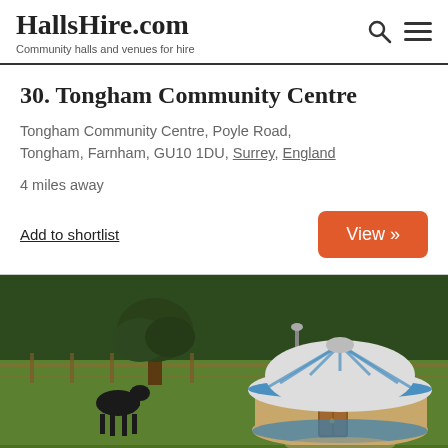HallsHire.com — Community halls and venues for hire
30. Tongham Community Centre
Tongham Community Centre, Poyle Road, Tongham, Farnham, GU10 1DU, Surrey, England
4 miles away
Add to shortlist
View »
[Figure (photo): Outdoor photo of a yurt (circular tent structure with blue and white roof and wooden door) in a green field, with a horse grazing near a tree and wooden fencing in the background.]